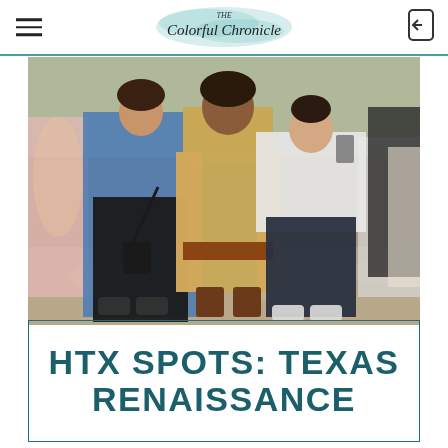The Colorful Chronicle
[Figure (photo): Three people posing together at a Renaissance festival outdoors. Left person wears blue off-shoulder top and black jeans with a crossbody bag. Center person wears an elaborate Renaissance costume with fur vest and brown boots. Right person wears a white top and dark jeans. Background shows other festival attendees on a dirt path with trees.]
HTX SPOTS: TEXAS RENAISSANCE